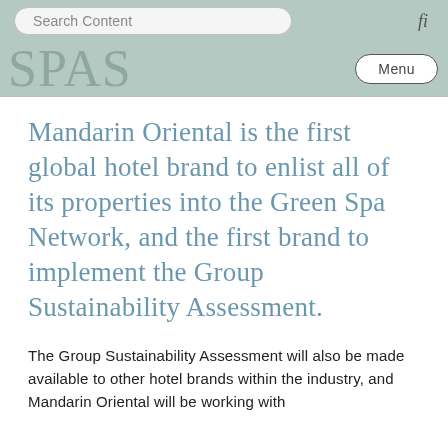Search Content   fi
SPAS   Menu
Mandarin Oriental is the first global hotel brand to enlist all of its properties into the Green Spa Network, and the first brand to implement the Group Sustainability Assessment.
The Group Sustainability Assessment will also be made available to other hotel brands within the industry, and Mandarin Oriental will be working with